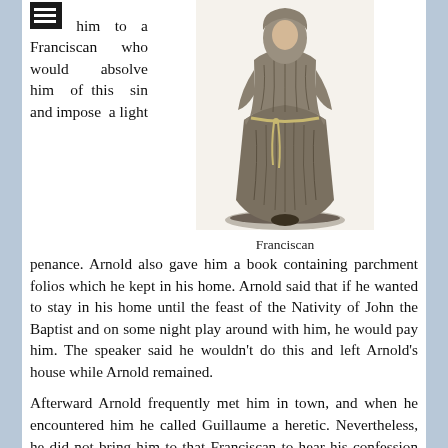him to a Franciscan who would absolve him of this sin and impose a light penance.
[Figure (illustration): Black and white engraving of a Franciscan friar in full robes, standing, showing the habit and rope belt characteristic of the Franciscan order.]
Franciscan
penance. Arnold also gave him a book containing parchment folios which he kept in his home. Arnold said that if he wanted to stay in his home until the feast of the Nativity of John the Baptist and on some night play around with him, he would pay him. The speaker said he wouldn't do this and left Arnold's house while Arnold remained.
Afterward Arnold frequently met him in town, and when he encountered him he called Guillaume a heretic. Nevertheless, he did not bring him to that Franciscan to hear his confession concerning said sin, although Guillaume frequently asked him to do so.
Finally, about eight days later, Guillaume was with